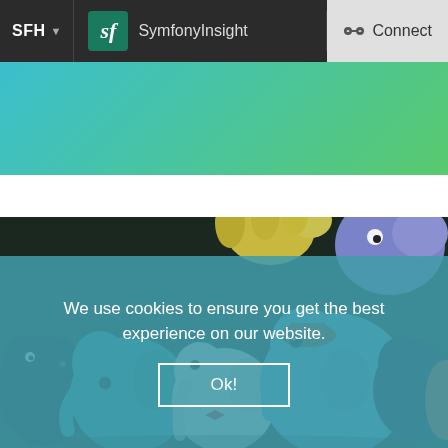SFH ▼   SymfonyInsight   Connect
[Figure (photo): Colorful stuffed elephant toys packed closely together, including teal, white, blue, black, yellow, and orange elephants]
We use cookies to ensure you get the best experience on our website.
Ok!